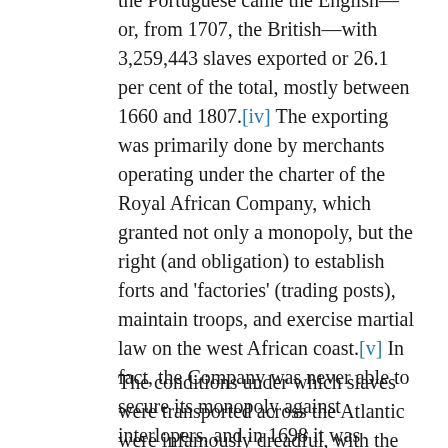the Portuguese came the English—or, from 1707, the British—with 3,259,443 slaves exported or 26.1 per cent of the total, mostly between 1660 and 1807.[iv] The exporting was primarily done by merchants operating under the charter of the Royal African Company, which granted not only a monopoly, but the right (and obligation) to establish forts and 'factories' (trading posts), maintain troops, and exercise martial law on the west African coast.[v] In fact, the Company was never able to secure its monopoly against interlopers, and in 1698 it was formally withdrawn.[vi]
The conditions under which slaves were transported across the Atlantic were infamously dreadful, with the human cargo packed like sardines below decks, initially shackled, starved of daily fresh air and sunlight for all but an hour or two, malnourished, dehydrated, and prey to disease for a voyage lasting up to six weeks. According to one estimate, of the African slaves